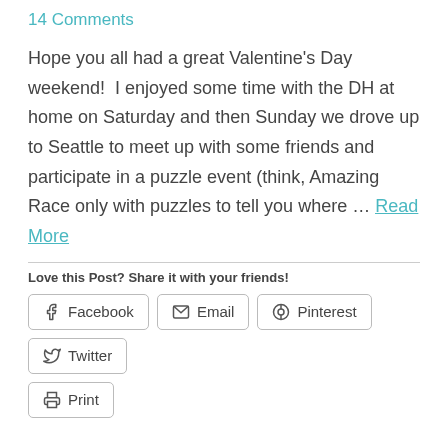14 Comments
Hope you all had a great Valentine's Day weekend!  I enjoyed some time with the DH at home on Saturday and then Sunday we drove up to Seattle to meet up with some friends and participate in a puzzle event (think, Amazing Race only with puzzles to tell you where … Read More
Love this Post? Share it with your friends!
Facebook | Email | Pinterest | Twitter | Print